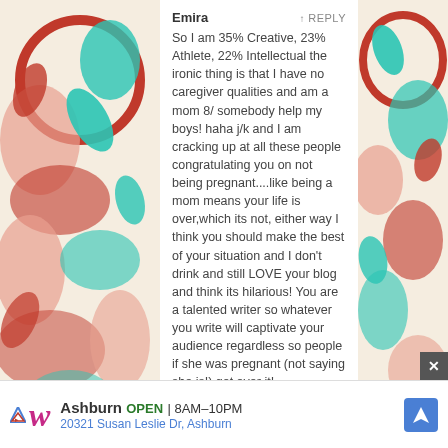Emira
REPLY
So I am 35% Creative, 23% Athlete, 22% Intellectual the ironic thing is that I have no caregiver qualities and am a mom 8/ somebody help my boys! haha j/k and I am cracking up at all these people congratulating you on not being pregnant....like being a mom means your life is over,which its not, either way I think you should make the best of your situation and I don’t drink and still LOVE your blog and think its hilarious! You are a talented writer so whatever you write will captivate your audience regardless so people if she was pregnant (not saying she is!) get over it!
Angie Zeisler Veith
REPLY
38% caregiver, 24% athlete, 18% intellectual. Does this mean I’m a smart jock that cares? hahaha
mrsoz
REPLY
[Figure (illustration): Decorative floral/swirl pattern in red, teal, and pink on cream background on left and right margins]
Ashburn OPEN 8AM–10PM 20321 Susan Leslie Dr, Ashburn